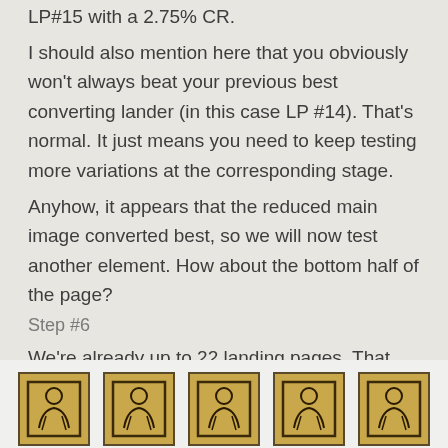LP#15 with a 2.75% CR.
I should also mention here that you obviously won't always beat your previous best converting lander (in this case LP #14). That's normal. It just means you need to keep testing more variations at the corresponding stage.
Anyhow, it appears that the reduced main image converted best, so we will now test another element. How about the bottom half of the page?
Step #6
We're already up to 22 landing pages. That takes a lot of time, effort, and money to buy all the traffic, but it will pay for itself in the long run. We're doing this all for the long term benefits.
[Figure (illustration): Five identical card-style images showing a stylized figure/person icon on a golden/tan background with dark border, arranged in a horizontal row at the bottom of the page.]